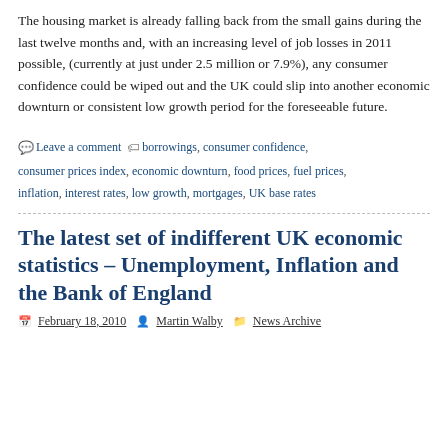The housing market is already falling back from the small gains during the last twelve months and, with an increasing level of job losses in 2011 possible, (currently at just under 2.5 million or 7.9%), any consumer confidence could be wiped out and the UK could slip into another economic downturn or consistent low growth period for the foreseeable future.
Leave a comment  borrowings, consumer confidence, consumer prices index, economic downturn, food prices, fuel prices, inflation, interest rates, low growth, mortgages, UK base rates
The latest set of indifferent UK economic statistics – Unemployment, Inflation and the Bank of England
February 18, 2010  Martin Walby  News Archive